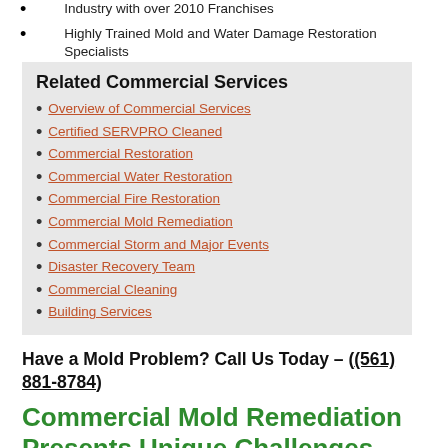Industry with over 2010 Franchises
Highly Trained Mold and Water Damage Restoration Specialists
Related Commercial Services
Overview of Commercial Services
Certified SERVPRO Cleaned
Commercial Restoration
Commercial Water Restoration
Commercial Fire Restoration
Commercial Mold Remediation
Commercial Storm and Major Events
Disaster Recovery Team
Commercial Cleaning
Building Services
Have a Mold Problem? Call Us Today – (561) 881-8784
Commercial Mold Remediation Presents Unique Challenges